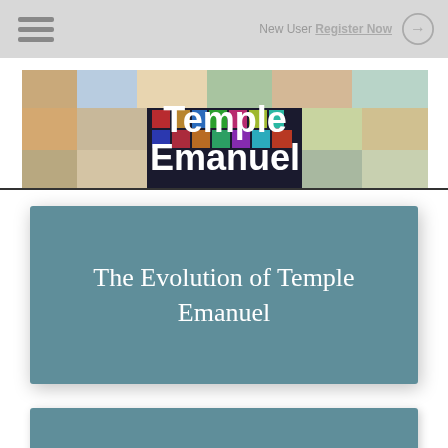New User Register Now
[Figure (illustration): Temple Emanuel banner with colorful mosaic tile background and white bold text reading 'Temple Emanuel']
The Evolution of Temple Emanuel